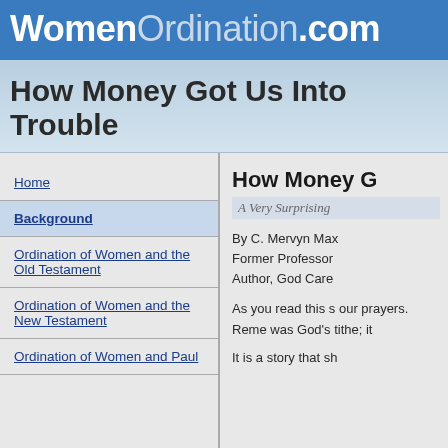WomenOrdination.com
How Money Got Us Into Trouble
Home
Background
Ordination of Women and the Old Testament
Ordination of Women and the New Testament
Ordination of Women and Paul
How Money G
A Very Surprising
By C. Mervyn Max
Former Professor
Author, God Care
As you read this s our prayers. Reme was God's tithe; it
It is a story that sh